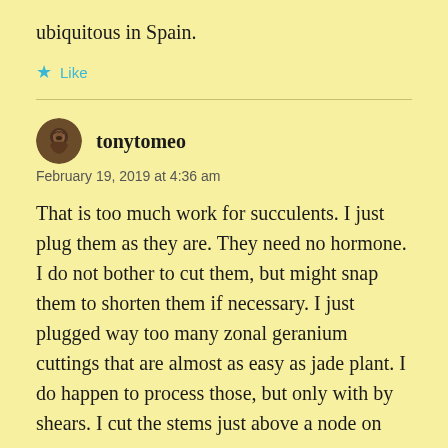ubiquitous in Spain.
★ Like
tonytomeo
February 19, 2019 at 4:36 am
That is too much work for succulents. I just plug them as they are. They need no hormone. I do not bother to cut them, but might snap them to shorten them if necessary. I just plugged way too many zonal geranium cuttings that are almost as easy as jade plant. I do happen to process those, but only with by shears. I cut the stems just above a node on